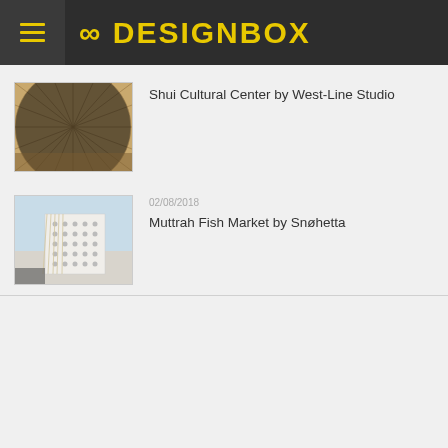8DESIGNBOX
[Figure (photo): Interior architectural photo of Shui Cultural Center showing intricate woven/structured ceiling and walls]
Shui Cultural Center by West-Line Studio
[Figure (photo): Exterior photo of Muttrah Fish Market by Snøhetta showing white perforated facade with hanging elements]
02/08/2018
Muttrah Fish Market by Snøhetta